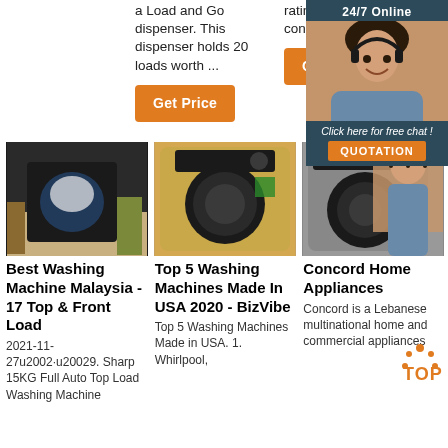a Load and Go dispenser. This dispenser holds 20 loads worth ...
rating for energy consumption.
Get Price
Get Price
24/7 Online
Click here for free chat !
QUOTATION
[Figure (photo): Dishwasher in a kitchen setting with dishes inside]
[Figure (photo): Gold/champagne colored front-load washing machine]
[Figure (photo): Gray front-load washing machine with woman customer service agent overlay]
Best Washing Machine Malaysia - 17 Top & Front Load
2021-11-27u2002·u20029. Sharp 15KG Full Auto Top Load Washing Machine
Top 5 Washing Machines Made In USA 2020 - BizVibe
Top 5 Washing Machines Made in USA. 1. Whirlpool,
Concord Home Appliances
Concord is a Lebanese multinational home and commercial appliances